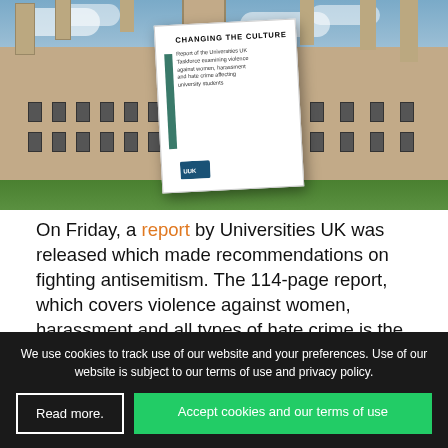[Figure (photo): Photograph of a historic university building (Oxford-style) with gothic towers against a cloudy sky, with a green lawn in front. Overlaid is a tilted white booklet cover titled 'CHANGING THE CULTURE' with a green spine bar, subtitled as a Universities UK Taskforce report on violence against women, harassment and hate crime affecting university students.]
On Friday, a report by Universities UK was released which made recommendations on fighting antisemitism. The 114-page report, which covers violence against women, harassment and all types of hate crime is the
We use cookies to track use of our website and your preferences. Use of our website is subject to our terms of use and privacy policy.
Read more.
Accept cookies and our terms of use